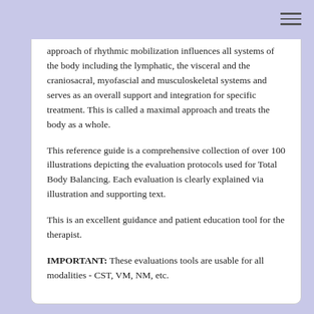approach of rhythmic mobilization influences all systems of the body including the lymphatic, the visceral and the craniosacral, myofascial and musculoskeletal systems and serves as an overall support and integration for specific treatment. This is called a maximal approach and treats the body as a whole.
This reference guide is a comprehensive collection of over 100 illustrations depicting the evaluation protocols used for Total Body Balancing. Each evaluation is clearly explained via illustration and supporting text.
This is an excellent guidance and patient education tool for the therapist.
IMPORTANT: These evaluations tools are usable for all modalities - CST, VM, NM, etc.